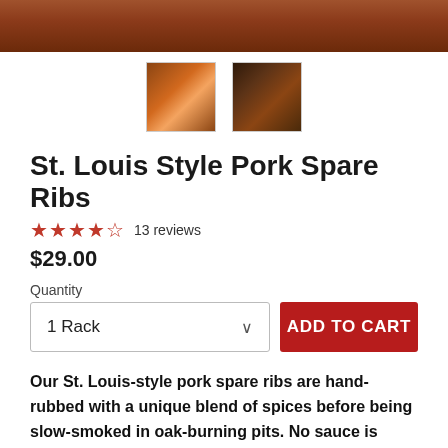[Figure (photo): Top portion of food photo showing pork spare ribs, cropped at top of page]
[Figure (photo): Two thumbnail images of St. Louis Style Pork Spare Ribs - first showing ribs with garnish, second showing grilled/smoked ribs]
St. Louis Style Pork Spare Ribs
★★★★☆ 13 reviews
$29.00
Quantity
1 Rack
ADD TO CART
Our St. Louis-style pork spare ribs are hand-rubbed with a unique blend of spices before being slow-smoked in oak-burning pits. No sauce is really needed for these meaty, juicy ribs that pull away from the bone!